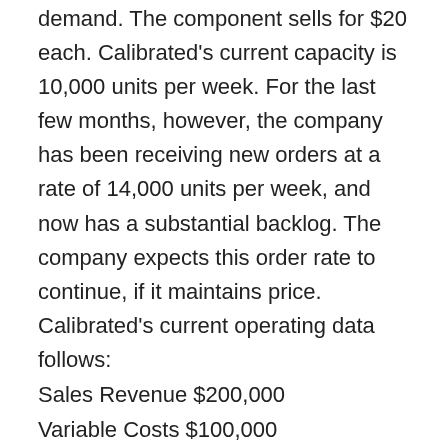demand. The component sells for $20 each. Calibrated's current capacity is 10,000 units per week. For the last few months, however, the company has been receiving new orders at a rate of 14,000 units per week, and now has a substantial backlog. The company expects this order rate to continue, if it maintains price. Calibrated's current operating data follows:
Sales Revenue $200,000
Variable Costs $100,000
Fixed Costs $80,000